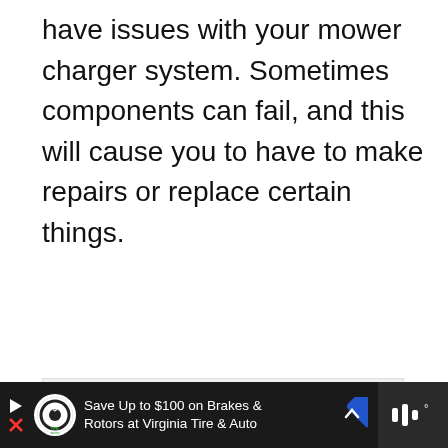have issues with your mower charger system. Sometimes components can fail, and this will cause you to have to make repairs or replace certain things.
[Figure (screenshot): Gray placeholder image area with UI overlay elements: a green heart/favorite button, a share button, and a 'What's Next' card showing 'How to Clean a Riding La...' with a thumbnail]
[Figure (screenshot): Bottom advertisement bar: dark background with play/close icons, tire & auto logo circle, text 'Save Up to $100 on Brakes & Rotors at Virginia Tire & Auto', blue direction arrow icon, and a dark right panel with sound wave icon]